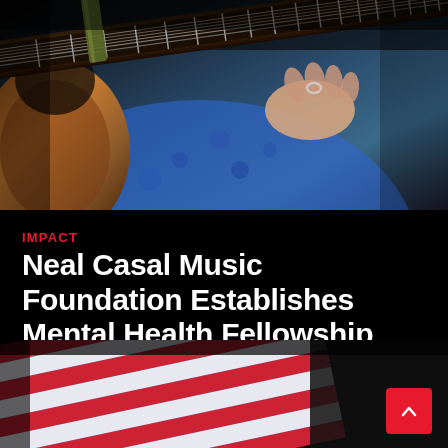[Figure (photo): Close-up photo of a person playing an electric guitar, wearing a blue floral shirt, with guitar neck and frets visible across the frame]
IMPACT
Neal Casal Music Foundation Establishes Mental Health Fellowship
[Figure (photo): Partial photo of an American flag with red and white stripes visible, dark background]